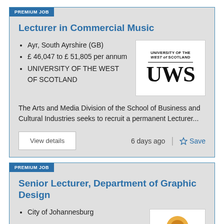PREMIUM JOB
Lecturer in Commercial Music
Ayr, South Ayrshire (GB)
£ 46,047 to £ 51,805 per annum
UNIVERSITY OF THE WEST OF SCOTLAND
[Figure (logo): University of the West of Scotland UWS logo]
The Arts and Media Division of the School of Business and Cultural Industries seeks to recruit a permanent Lecturer...
View details
6 days ago
Save
PREMIUM JOB
Senior Lecturer, Department of Graphic Design
City of Johannesburg